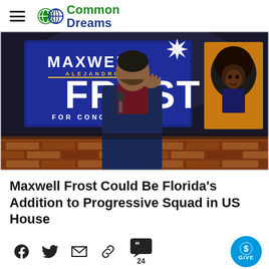Common Dreams
[Figure (photo): Maxwell Alejandro Frost speaking at a campaign event with a 'Maxwell Alejandro Frost for Congress' banner/sign in the background, holding a microphone, wearing a maroon turtleneck and dark blazer. A painting of a musician (Jimi Hendrix) is visible in the background right.]
Maxwell Frost Could Be Florida's Addition to Progressive Squad in US House
Social sharing icons: Facebook, Twitter, Email, Link, Comments (24), Give button